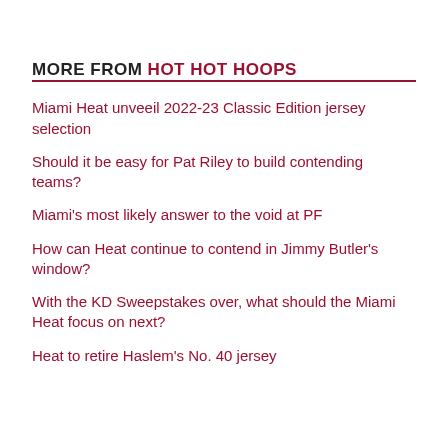MORE FROM HOT HOT HOOPS
Miami Heat unveil 2022-23 Classic Edition jersey selection
Should it be easy for Pat Riley to build contending teams?
Miami's most likely answer to the void at PF
How can Heat continue to contend in Jimmy Butler's window?
With the KD Sweepstakes over, what should the Miami Heat focus on next?
Heat to retire Haslem's No. 40 jersey